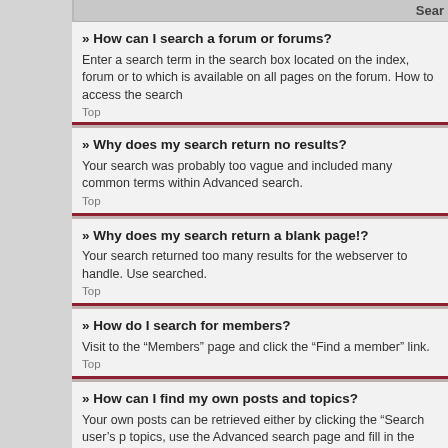Sear
» How can I search a forum or forums?
Enter a search term in the search box located on the index, forum or to which is available on all pages on the forum. How to access the search
Top
» Why does my search return no results?
Your search was probably too vague and included many common terms within Advanced search.
Top
» Why does my search return a blank page!?
Your search returned too many results for the webserver to handle. Use searched.
Top
» How do I search for members?
Visit to the “Members” page and click the “Find a member” link.
Top
» How can I find my own posts and topics?
Your own posts can be retrieved either by clicking the “Search user’s p topics, use the Advanced search page and fill in the various options app
Top